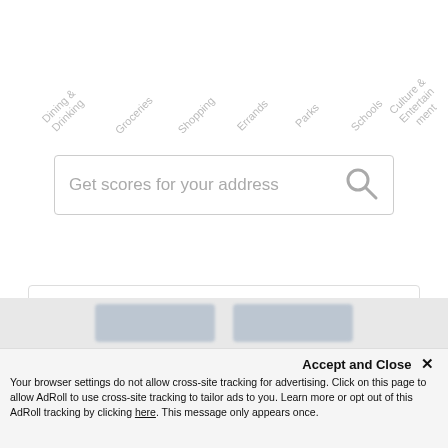[Figure (screenshot): Partial webpage screenshot showing rotated category labels (Dining & Drinking, Groceries, Shopping, Errands, Parks, Schools, Culture & Entertainment) at top, a search bar reading 'Get scores for your address' with a search icon, a VIP Incentives card section, and a cookie consent overlay with Accept and Close button and AdRoll tracking notice.]
Get scores for your address
VIP Incentives
We use cookies on our website to give you the most relevant experience by remembering your preferences and repeat visits. By clicking “Accept All”, you consent to the use of ALL the cookies. However, you may visit "Cookie Settings" to provide a controlled
Accept and Close ×
Your browser settings do not allow cross-site tracking for advertising. Click on this page to allow AdRoll to use cross-site tracking to tailor ads to you. Learn more or opt out of this AdRoll tracking by clicking here. This message only appears once.